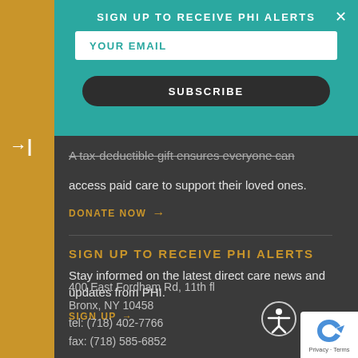SIGN UP TO RECEIVE PHI ALERTS
YOUR EMAIL
SUBSCRIBE
A tax-deductible gift ensures everyone can access paid care to support their loved ones.
DONATE NOW →
SIGN UP TO RECEIVE PHI ALERTS
Stay informed on the latest direct care news and updates from PHI.
SIGN UP →
400 East Fordham Rd, 11th fl
Bronx, NY 10458
tel: (718) 402-7766
fax: (718) 585-6852